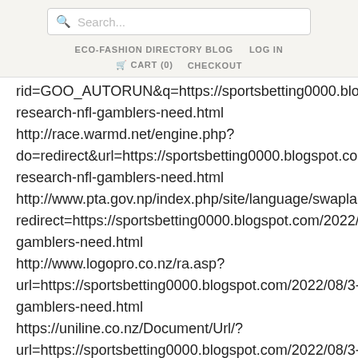[Figure (screenshot): Search bar with placeholder text 'Search...']
ECO-FASHION DIRECTORY BLOG   LOG IN
🛒 CART (0)   CHECKOUT
rid=GOO_AUTORUN&q=https://sportsbetting0000.blogsp
research-nfl-gamblers-need.html
http://race.warmd.net/engine.php?
do=redirect&url=https://sportsbetting0000.blogspot.con
research-nfl-gamblers-need.html
http://www.pta.gov.np/index.php/site/language/swaplar
redirect=https://sportsbetting0000.blogspot.com/2022/0
gamblers-need.html
http://www.logopro.co.nz/ra.asp?
url=https://sportsbetting0000.blogspot.com/2022/08/3-ty
gamblers-need.html
https://uniline.co.nz/Document/Url/?
url=https://sportsbetting0000.blogspot.com/2022/08/3-ty
gamblers-need.html